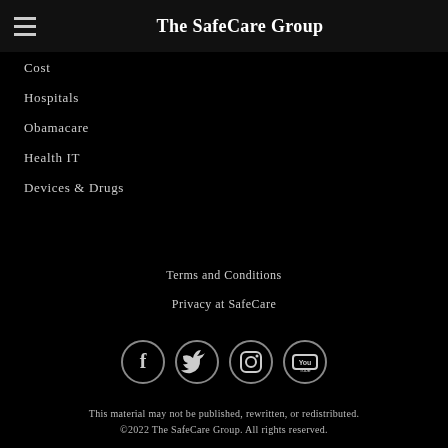The SafeCare Group
Cost
Hospitals
Obamacare
Health IT
Devices & Drugs
Terms and Conditions
Privacy at SafeCare
[Figure (other): Social media icons: Facebook, Twitter, Instagram, YouTube]
This material may not be published, rewritten, or redistributed. ©2022 The SafeCare Group. All rights reserved.